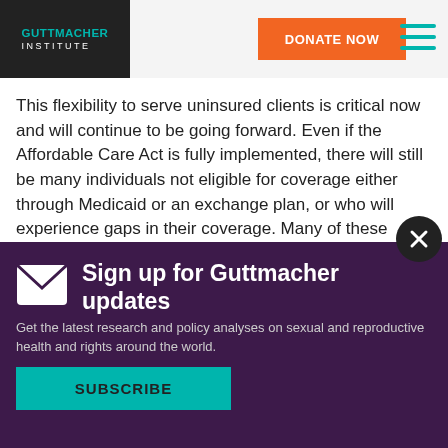GUTTMACHER INSTITUTE | DONATE NOW
This flexibility to serve uninsured clients is critical now and will continue to be going forward. Even if the Affordable Care Act is fully implemented, there will still be many individuals not eligible for coverage either through Medicaid or an exchange plan, or who will experience gaps in their coverage. Many of these individuals will be immigrants—not only undocumen…
Sign up for Guttmacher updates
Get the latest research and policy analyses on sexual and reproductive health and rights around the world.
SUBSCRIBE